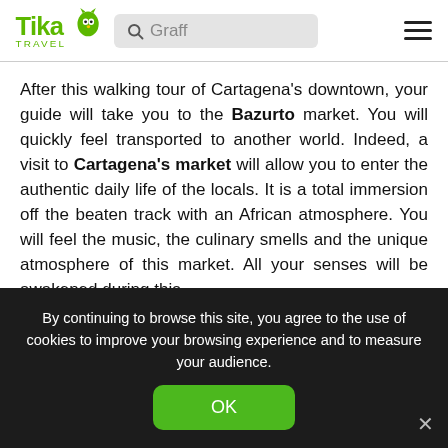Tika Travel — Graff search bar and hamburger menu
After this walking tour of Cartagena's downtown, your guide will take you to the Bazurto market. You will quickly feel transported to another world. Indeed, a visit to Cartagena's market will allow you to enter the authentic daily life of the locals. It is a total immersion off the beaten track with an African atmosphere. You will feel the music, the culinary smells and the unique atmosphere of this market. All your senses will be awakened during this
By continuing to browse this site, you agree to the use of cookies to improve your browsing experience and to measure your audience.
OK